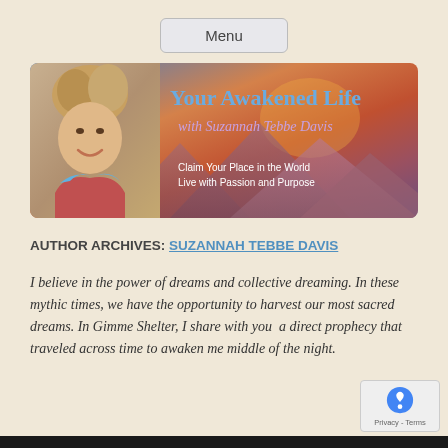Menu
[Figure (illustration): Your Awakened Life with Suzannah Tebbe Davis banner. Shows a woman smiling on the left with a sunset mountain landscape background. Text reads: 'Your Awakened Life with Suzannah Tebbe Davis' and 'Claim Your Place in the World Live with Passion and Purpose']
AUTHOR ARCHIVES: SUZANNAH TEBBE DAVIS
I believe in the power of dreams and collective dreaming. In these mythic times, we have the opportunity to harvest our most sacred dreams. In Gimme Shelter, I share with you a direct prophecy that traveled across time to awaken me middle of the night.